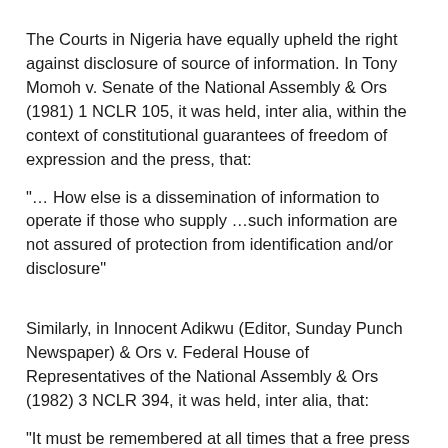The Courts in Nigeria have equally upheld the right against disclosure of source of information. In Tony Momoh v. Senate of the National Assembly & Ors (1981) 1 NCLR 105, it was held, inter alia, within the context of constitutional guarantees of freedom of expression and the press, that:
"… How else is a dissemination of information to operate if those who supply …such information are not assured of protection from identification and/or disclosure"
Similarly, in Innocent Adikwu (Editor, Sunday Punch Newspaper) & Ors v. Federal House of Representatives of the National Assembly & Ors (1982) 3 NCLR 394, it was held, inter alia, that:
"It must be remembered at all times that a free press is one of the pillars of freedom in this country as indeed in any